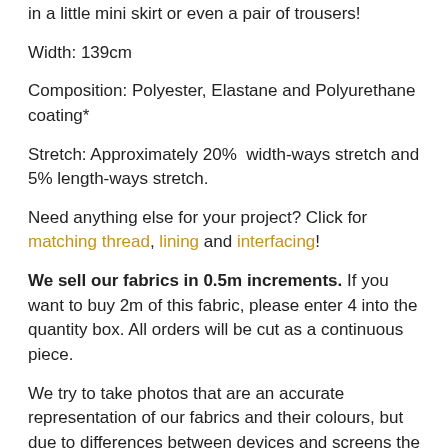in a little mini skirt or even a pair of trousers!
Width: 139cm
Composition: Polyester, Elastane and Polyurethane coating*
Stretch: Approximately 20%  width-ways stretch and 5% length-ways stretch.
Need anything else for your project? Click for matching thread, lining and interfacing!
We sell our fabrics in 0.5m increments. If you want to buy 2m of this fabric, please enter 4 into the quantity box. All orders will be cut as a continuous piece.
We try to take photos that are an accurate representation of our fabrics and their colours, but due to differences between devices and screens the colour may vary slightly. Unfortunately we are unable to offer samples as all of our fabrics are short run end of lines and will likely sell out by